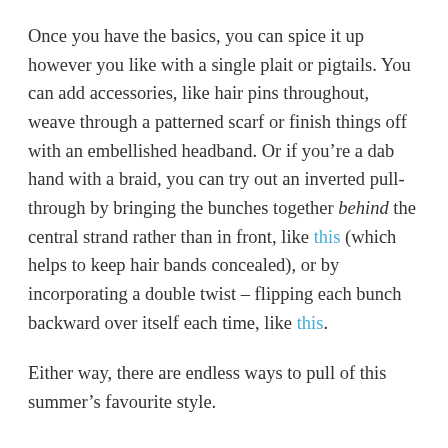Once you have the basics, you can spice it up however you like with a single plait or pigtails. You can add accessories, like hair pins throughout, weave through a patterned scarf or finish things off with an embellished headband. Or if you're a dab hand with a braid, you can try out an inverted pull-through by bringing the bunches together behind the central strand rather than in front, like this (which helps to keep hair bands concealed), or by incorporating a double twist – flipping each bunch backward over itself each time, like this.
Either way, there are endless ways to pull of this summer's favourite style.